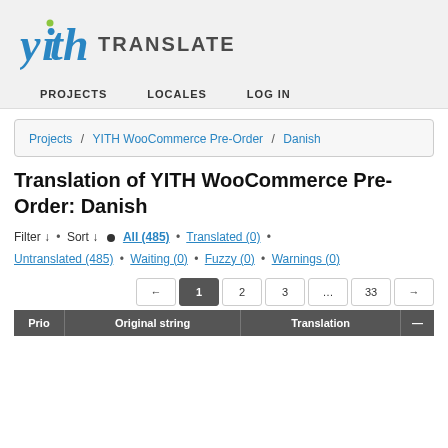YITH TRANSLATE
PROJECTS
LOCALES
LOG IN
Projects / YITH WooCommerce Pre-Order / Danish
Translation of YITH WooCommerce Pre-Order: Danish
Filter ↓ • Sort ↓ ● All (485) • Translated (0) • Untranslated (485) • Waiting (0) • Fuzzy (0) • Warnings (0)
← 1 2 3 … 33 →
| Prio | Original string | Translation | — |
| --- | --- | --- | --- |